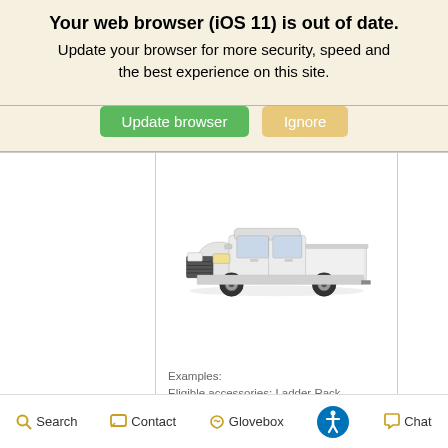Your web browser (iOS 11) is out of date. Update your browser for more security, speed and the best experience on this site.
[Figure (screenshot): Green 'Update browser' button and yellow/tan 'Ignore' button]
[Figure (photo): White Chevrolet Silverado pickup truck, side view on white background]
Examples:
Eligible accessories: Ladder Rack, Hitch/Trailering Package, Molded Hood Protector, Floor Mate Eligible Upfits Professionally Coated Graphics, Trailing/Hitch products, 4x4 Conversion
Search  Contact  Glovebox  [Accessibility icon]  Chat